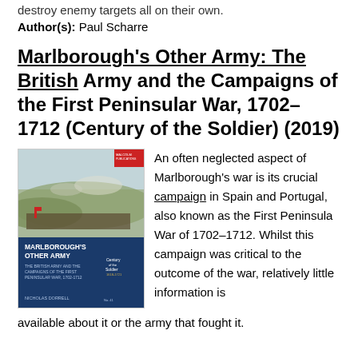destroy enemy targets all on their own.
Author(s): Paul Scharre
Marlborough's Other Army: The British Army and the Campaigns of the First Peninsular War, 1702–1712 (Century of the Soldier) (2019)
[Figure (photo): Book cover of Marlborough's Other Army showing a battle scene painting on the top half and a dark blue cover with title text on the bottom half, including a Century of the Soldier badge.]
An often neglected aspect of Marlborough's war is its crucial campaign in Spain and Portugal, also known as the First Peninsula War of 1702–1712. Whilst this campaign was critical to the outcome of the war, relatively little information is
available about it or the army that fought it.